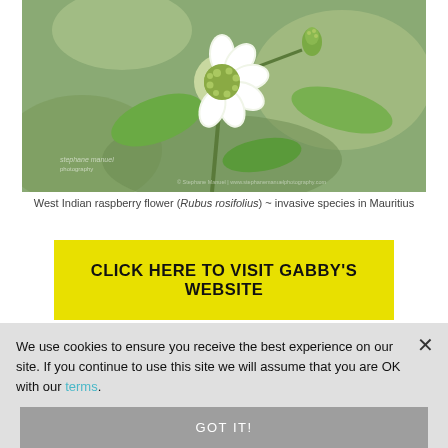[Figure (photo): Close-up macro photograph of a West Indian raspberry flower (Rubus rosifolius) with white petals and green spiky center, set against blurred green leaves. Watermark text visible in corners.]
West Indian raspberry flower (Rubus rosifolius) ~ invasive species in Mauritius
CLICK HERE TO VISIT GABBY'S WEBSITE
Adventure, endemic species, exotic, explore, fauna, female nature photographers, flora,
We use cookies to ensure you receive the best experience on our site. If you continue to use this site we will assume that you are OK with our terms.
GOT IT!